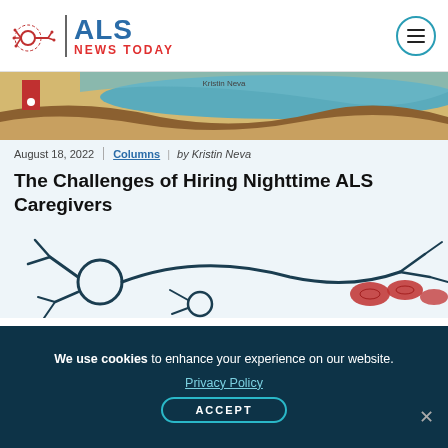ALS NEWS TODAY
[Figure (illustration): ALS News Today logo with neuron/fork icon on left, vertical divider, 'ALS' in blue bold and 'NEWS TODAY' in red bold text]
[Figure (photo): Hero image strip with illustrated landscape in earth tones, teal water shape, red element on left edge, 'Kristin Neva' credit text]
August 18, 2022 | Columns | by Kristin Neva
The Challenges of Hiring Nighttime ALS Caregivers
[Figure (illustration): Neuron illustration with dark teal nerve cell body with branching dendrites on left, axon extending right, red oval cell bodies (blood cells) on right side, against light blue background]
We use cookies to enhance your experience on our website.
Privacy Policy
ACCEPT